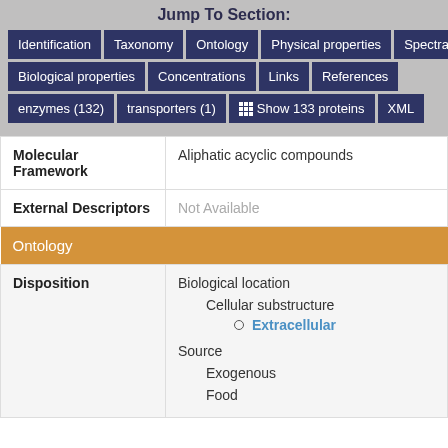Jump To Section:
Identification | Taxonomy | Ontology | Physical properties | Spectra | Biological properties | Concentrations | Links | References | enzymes (132) | transporters (1) | Show 133 proteins | XML
| Property | Value |
| --- | --- |
| Molecular Framework | Aliphatic acyclic compounds |
| External Descriptors | Not Available |
| Ontology |  |
| Disposition | Biological location
  Cellular substructure
    Extracellular
Source
  Exogenous
    Food |